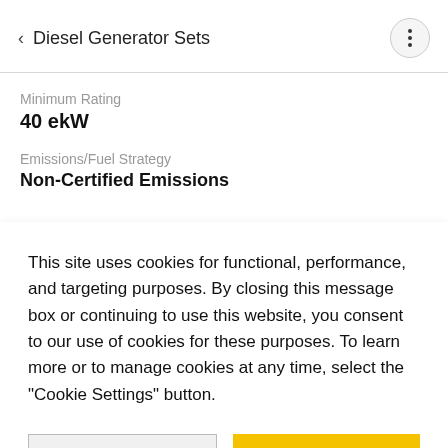< Diesel Generator Sets
Minimum Rating
40 ekW
Emissions/Fuel Strategy
Non-Certified Emissions
This site uses cookies for functional, performance, and targeting purposes. By closing this message box or continuing to use this website, you consent to our use of cookies for these purposes. To learn more or to manage cookies at any time, select the "Cookie Settings" button.
Cookie Settings
Close